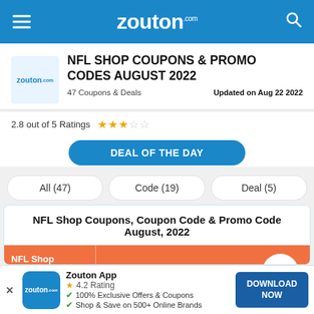zouton.com
NFL SHOP COUPONS & PROMO CODES AUGUST 2022
47 Coupons & Deals   Updated on Aug 22 2022
2.8 out of 5 Ratings ★★★☆☆
DEAL OF THE DAY
All (47)
Code (19)
Deal (5)
NFL Shop Coupons, Coupon Code & Promo Code August, 2022
| NFL Shop Coupons | NFL Shop Coupon Details |
| --- | --- |
| Up to 5% | Avail 5% Off on Clothing... |
Zouton App
4.2 Rating
100% Exclusive Offers & Coupons
Shop & Save on 500+ Online Brands
DOWNLOAD NOW